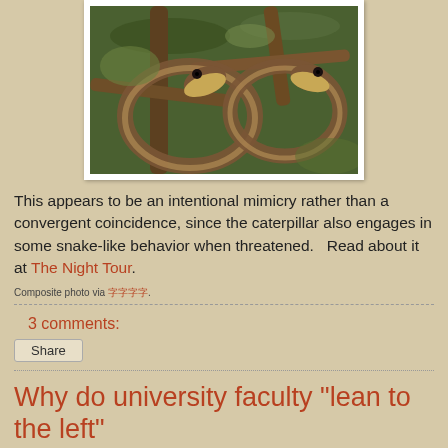[Figure (photo): Two snake heads viewed from above, coiled among branches, with yellow-green undersides and dark eyes, composite photo]
This appears to be an intentional mimicry rather than a convergent coincidence, since the caterpillar also engages in some snake-like behavior when threatened.   Read about it at The Night Tour.
Composite photo via [link].
3 comments:
Share
Why do university faculty "lean to the left"